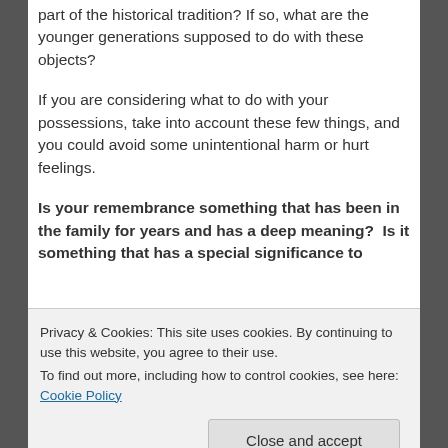part of the historical tradition? If so, what are the younger generations supposed to do with these objects?
If you are considering what to do with your possessions, take into account these few things, and you could avoid some unintentional harm or hurt feelings.
Is your remembrance something that has been in the family for years and has a deep meaning?  Is it something that has a special significance to
Privacy & Cookies: This site uses cookies. By continuing to use this website, you agree to their use.
To find out more, including how to control cookies, see here: Cookie Policy
Close and accept
that you thought it did. While some things are